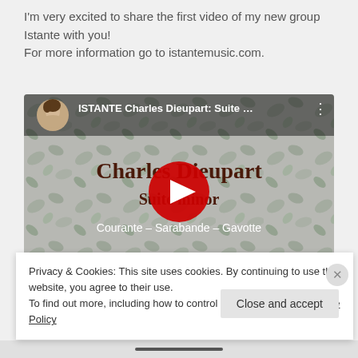I'm very excited to share the first video of my new group Istante with you!
For more information go to istantemusic.com.
[Figure (screenshot): YouTube video thumbnail showing 'ISTANTE Charles Dieupart: Suite ...' with a play button overlay. Title text reads 'Charles Dieupart Suite ... minor' and subtitle 'Courante – Sarabande – Gavotte'. Background shows a floral/leaf pattern.]
Privacy & Cookies: This site uses cookies. By continuing to use this website, you agree to their use.
To find out more, including how to control cookies, see here: Cookie Policy
Close and accept